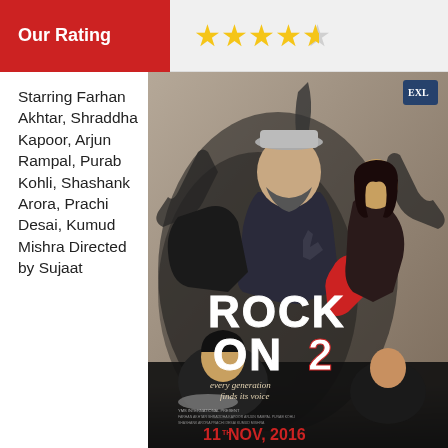Our Rating
4.5 stars out of 5
Starring Farhan Akhtar, Shraddha Kapoor, Arjun Rampal, Purab Kohli, Shashank Arora, Prachi Desai, Kumud Mishra Directed by Sujaat
[Figure (photo): Movie poster for Rock On 2 (2016), featuring the cast including Farhan Akhtar, Shraddha Kapoor, Arjun Rampal, and others. Text reads 'ROCK ON 2 - every generation finds its voice'. Release date: 11th Nov, 2016.]